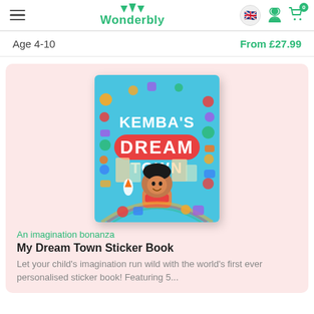Wonderbly
Age 4-10	From £27.99
[Figure (photo): Book cover of 'Kemba's Dream Town' sticker book — bright blue cover with illustrated child and stickers]
An imagination bonanza
My Dream Town Sticker Book
Let your child's imagination run wild with the world's first ever personalised sticker book! Featuring 5...